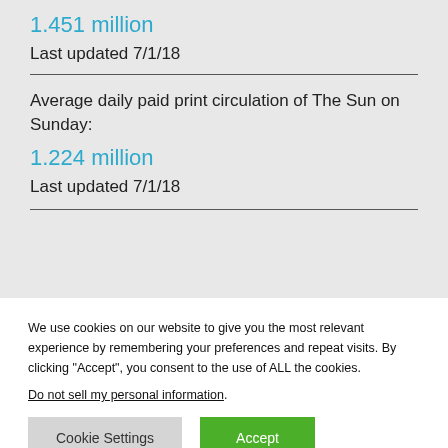1.451 million
Last updated 7/1/18
Average daily paid print circulation of The Sun on Sunday:
1.224 million
Last updated 7/1/18
We use cookies on our website to give you the most relevant experience by remembering your preferences and repeat visits. By clicking “Accept”, you consent to the use of ALL the cookies.
Do not sell my personal information.